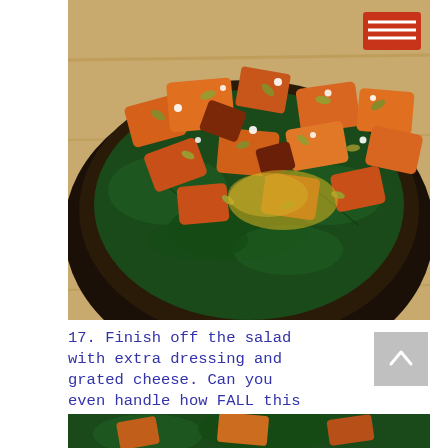[Figure (photo): Overhead close-up of a fall kale salad on a dark plate over a wooden surface, topped with roasted butternut squash chunks, pepitas/pumpkin seeds, white crumbled cheese, and a golden dressing. A small logo/icon is visible in the top-right corner of the photo.]
17. Finish off the salad with extra dressing and grated cheese. Can you even handle how FALL this salad is?
[Figure (photo): Partial bottom strip of another photo showing green kale and orange squash pieces.]